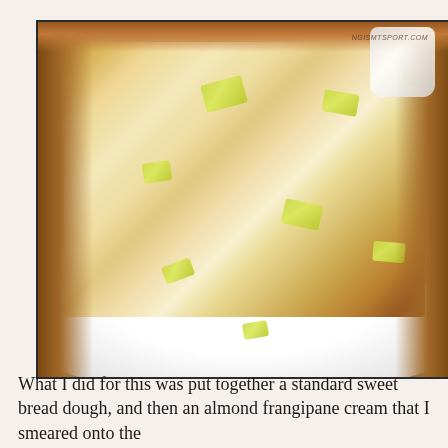[Figure (photo): Close-up photo of a slice of sweet bread or cake with pineapple chunks visible inside, served on a white plate. The bread has a golden-brown crust and a soft, pale interior with yellow-green fruit pieces. Background shows a striped tablecloth and a white mug.]
What I did for this was put together a standard sweet bread dough, and then an almond frangipane cream that I smeared onto the